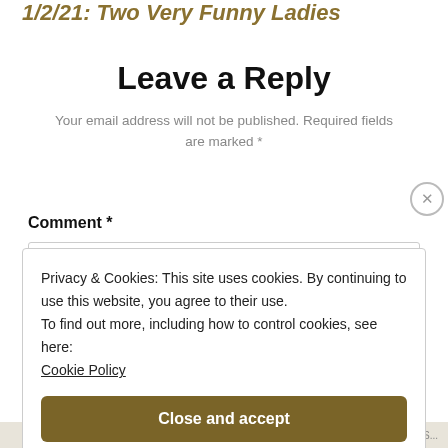1/2/21: Two Very Funny Ladies
Leave a Reply
Your email address will not be published. Required fields are marked *
Comment *
Privacy & Cookies: This site uses cookies. By continuing to use this website, you agree to their use.
To find out more, including how to control cookies, see here:
Cookie Policy
Close and accept